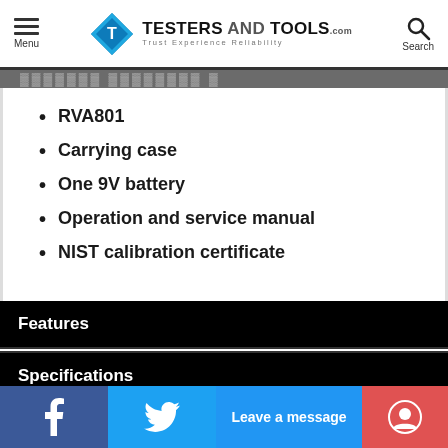TESTERS AND TOOLS .com — Trust Experience Reliability
RVA801
Carrying case
One 9V battery
Operation and service manual
NIST calibration certificate
Features
Specifications